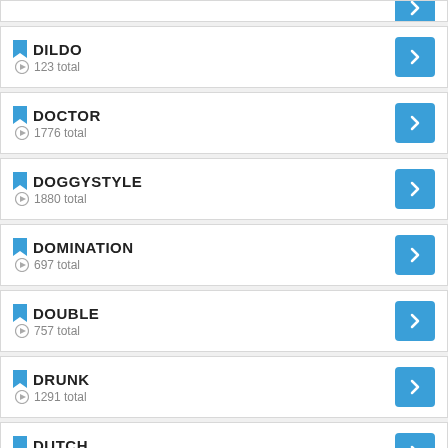DILDO — 123 total
DOCTOR — 1776 total
DOGGYSTYLE — 1880 total
DOMINATION — 697 total
DOUBLE — 757 total
DRUNK — 1291 total
DUTCH — 389 total